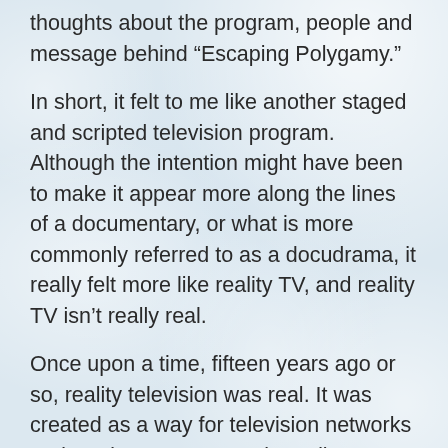thoughts about the program, people and message behind “Escaping Polygamy.”
In short, it felt to me like another staged and scripted television program. Although the intention might have been to make it appear more along the lines of a documentary, or what is more commonly referred to as a docudrama, it really felt more like reality TV, and reality TV isn’t really real.
Once upon a time, fifteen years ago or so, reality television was real. It was created as a way for television networks and producers to entertain audiences while dramatically reducing costs. Human beings love watching other people’s drama, and this is the reason that soap operas have been so successful for so many years.  The brilliance behind reality television was to show real -life human drama without any of the costs associated with paid actors, script-writers and so on. It